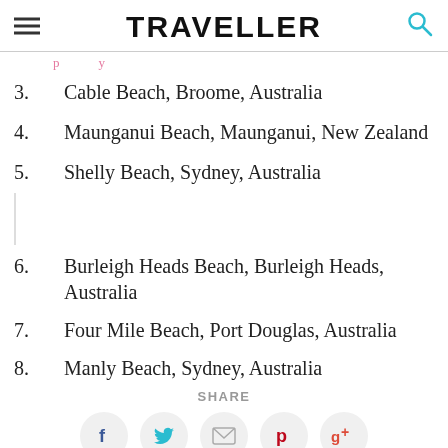TRAVELLER
(partial, clipped text above item 3)
3.    Cable Beach, Broome, Australia
4.    Maunganui Beach, Maunganui, New Zealand
5.    Shelly Beach, Sydney, Australia
6.    Burleigh Heads Beach, Burleigh Heads, Australia
7.    Four Mile Beach, Port Douglas, Australia
8.    Manly Beach, Sydney, Australia
SHARE